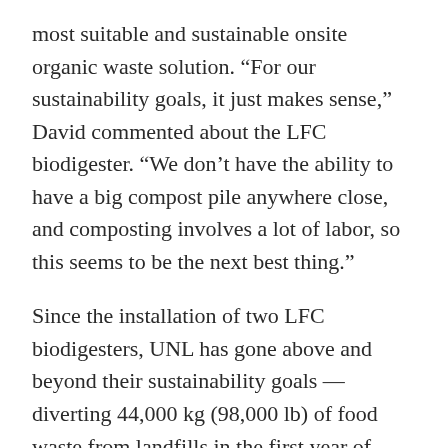most suitable and sustainable onsite organic waste solution. “For our sustainability goals, it just makes sense,” David commented about the LFC biodigester. “We don’t have the ability to have a big compost pile anywhere close, and composting involves a lot of labor, so this seems to be the next best thing.”
Since the installation of two LFC biodigesters, UNL has gone above and beyond their sustainability goals — diverting 44,000 kg (98,000 lb) of food waste from landfills in the first year of deployment.
Becoming a Leader in Environmental Stewardship on